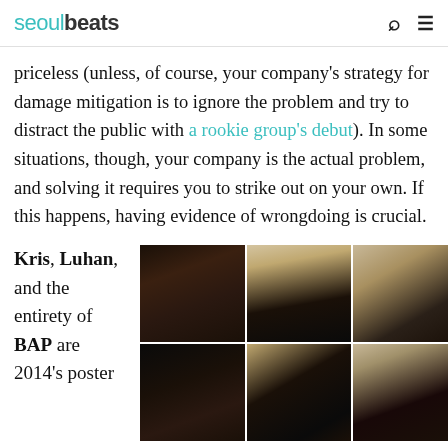seoulbeats
priceless (unless, of course, your company's strategy for damage mitigation is to ignore the problem and try to distract the public with a rookie group's debut). In some situations, though, your company is the actual problem, and solving it requires you to strike out on your own. If this happens, having evidence of wrongdoing is crucial.
Kris, Luhan, and the entirety of BAP are 2014's poster
[Figure (photo): Grid of six K-pop idol photos arranged in 3 columns and 2 rows, showing close-up portraits of male artists in dark, stylized settings.]